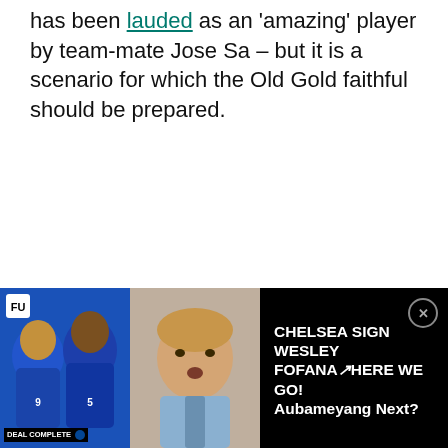has been lauded as an 'amazing' player by team-mate Jose Sa – but it is a scenario for which the Old Gold faithful should be prepared.
[Figure (screenshot): Video thumbnail and text bar at bottom of page. Left side shows two football players in Chelsea blue kits with 'DEAL COMPLETE' badge and Chelsea logo, with a play button overlay on the right portion. Right side on black background shows text: 'CHELSEA SIGN WESLEY FOFANA↗HERE WE GO! Aubameyang Next?' with a close (X) button.]